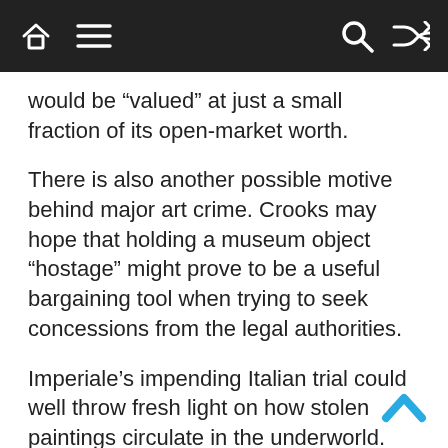[Navigation bar with home, menu, search, and shuffle icons]
would be “valued” at just a small fraction of its open-market worth.
There is also another possible motive behind major art crime. Crooks may hope that holding a museum object “hostage” might prove to be a useful bargaining tool when trying to seek concessions from the legal authorities.
Imperiale’s impending Italian trial could well throw fresh light on how stolen paintings circulate in the underworld.
Martin Bailey is a leading Van Gogh specialist and investigative reporter for The Art Newspaper. Bailey has curated Van Gogh exhibitions at the Barbican Art Gallery and Compton Verney/National